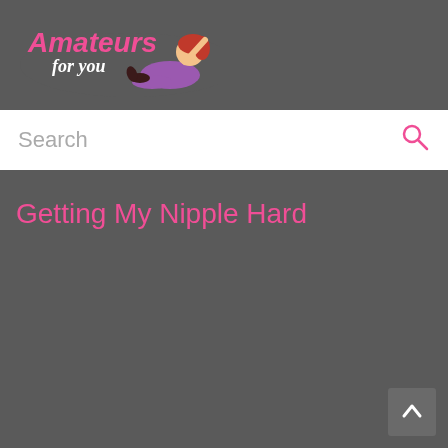[Figure (logo): Amateurs For You website logo with pink text and cartoon female figure lying down]
Search
Getting My Nipple Hard